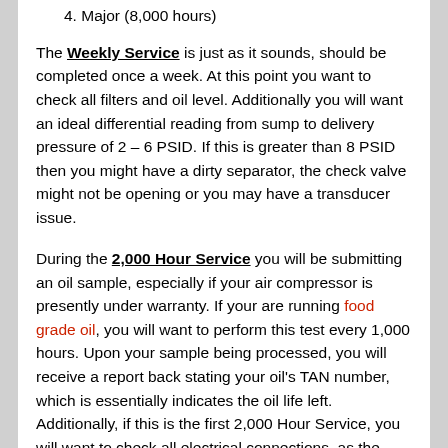4. Major (8,000 hours)
The Weekly Service is just as it sounds, should be completed once a week. At this point you want to check all filters and oil level. Additionally you will want an ideal differential reading from sump to delivery pressure of 2 – 6 PSID. If this is greater than 8 PSID then you might have a dirty separator, the check valve might not be opening or you may have a transducer issue.
During the 2,000 Hour Service you will be submitting an oil sample, especially if your air compressor is presently under warranty. If your are running food grade oil, you will want to perform this test every 1,000 hours. Upon your sample being processed, you will receive a report back stating your oil's TAN number, which is essentially indicates the oil life left. Additionally, if this is the first 2,000 Hour Service, you will want to check all electrical connections, as the heating and cooling of the wires may affect the tightness of the